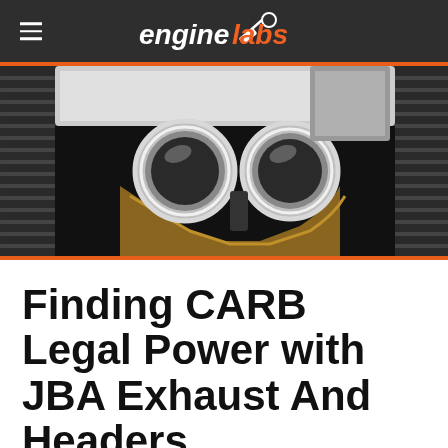enginelabs
[Figure (photo): Close-up photo of dual chrome exhaust pipes from underneath a vehicle, with tires visible on both sides and golden/heat-discolored pipe sections visible]
Finding CARB Legal Power with JBA Exhaust And Headers